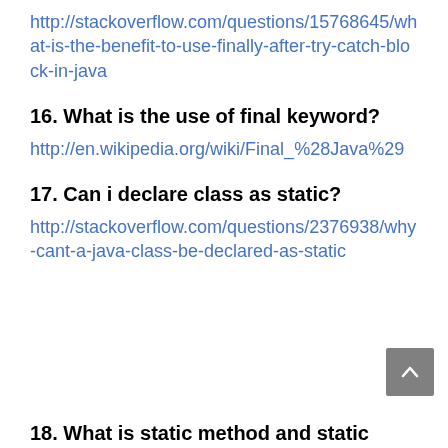http://stackoverflow.com/questions/15768645/what-is-the-benefit-to-use-finally-after-try-catch-block-in-java
16. What is the use of final keyword?
http://en.wikipedia.org/wiki/Final_%28Java%29
17. Can i declare class as static?
http://stackoverflow.com/questions/2376938/why-cant-a-java-class-be-declared-as-static
18. What is static method and static